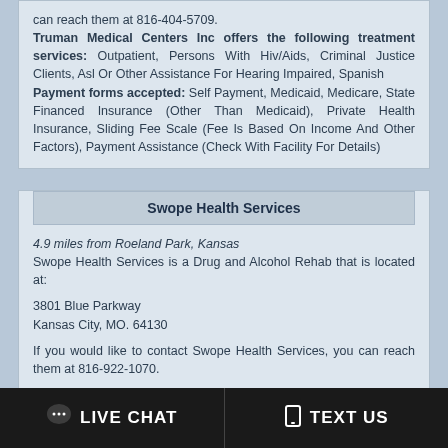can reach them at 816-404-5709. Truman Medical Centers Inc offers the following treatment services: Outpatient, Persons With Hiv/Aids, Criminal Justice Clients, Asl Or Other Assistance For Hearing Impaired, Spanish Payment forms accepted: Self Payment, Medicaid, Medicare, State Financed Insurance (Other Than Medicaid), Private Health Insurance, Sliding Fee Scale (Fee Is Based On Income And Other Factors), Payment Assistance (Check With Facility For Details)
Swope Health Services
4.9 miles from Roeland Park, Kansas Swope Health Services is a Drug and Alcohol Rehab that is located at: 3801 Blue Parkway Kansas City, MO. 64130 If you would like to contact Swope Health Services, you can reach them at 816-922-1070.
LIVE CHAT   TEXT US